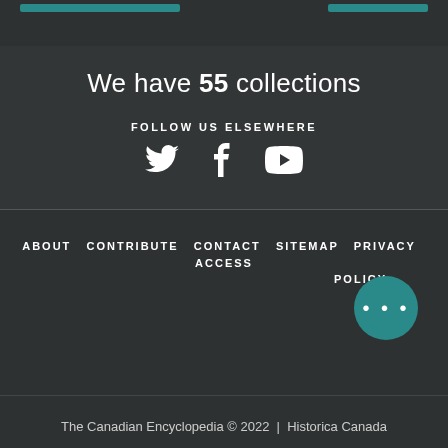We have 55 collections
FOLLOW US ELSEWHERE
[Figure (illustration): Social media icons: Twitter bird, Facebook f, YouTube play button]
ABOUT CONTRIBUTE CONTACT SITEMAP PRIVACY ACCESS POLICY
[Figure (other): Teal circle with three dots (ellipsis/chat bubble)]
The Canadian Encyclopedia © 2022 | Historica Canada